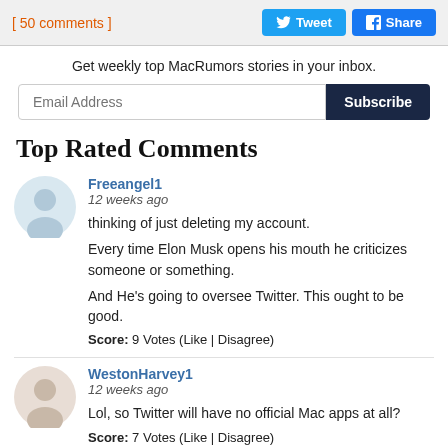[ 50 comments ]
Tweet
Share
Get weekly top MacRumors stories in your inbox.
Email Address
Subscribe
Top Rated Comments
Freeangel1
12 weeks ago
thinking of just deleting my account.

Every time Elon Musk opens his mouth he criticizes someone or something.

And He's going to oversee Twitter. This ought to be good.

Score: 9 Votes (Like | Disagree)
WestonHarvey1
12 weeks ago
Lol, so Twitter will have no official Mac apps at all?

Score: 7 Votes (Like | Disagree)